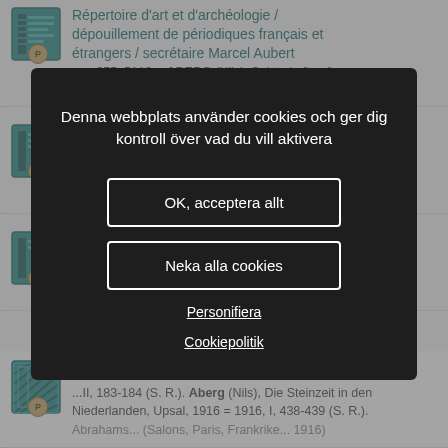[Figure (screenshot): Background library search results page showing book/journal entries with teal book icons and P badges, partially obscured by cookie consent modal]
Denna webbplats använder cookies och ger dig kontroll över vad du vill aktivera
OK, acceptera allt
Neka alla cookies
Personifiera
Cookiepolitik
Revue archéologique
...II, 183-184 (S. R.). Aberg (Nils), Die Steinzeit in den Niederlanden, Upsal, 1916 = 1916, I, 438-439 (S. R.). Abrahams... (Salons, Paris, Frankrike... 1916)